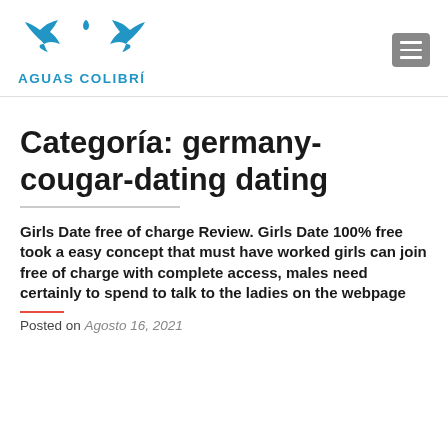AGUAS COLIBRÍ
Categoría: germany-cougar-dating dating
Girls Date free of charge Review. Girls Date 100% free took a easy concept that must have worked girls can join free of charge with complete access, males need certainly to spend to talk to the ladies on the webpage
Posted on Agosto 16, 2021